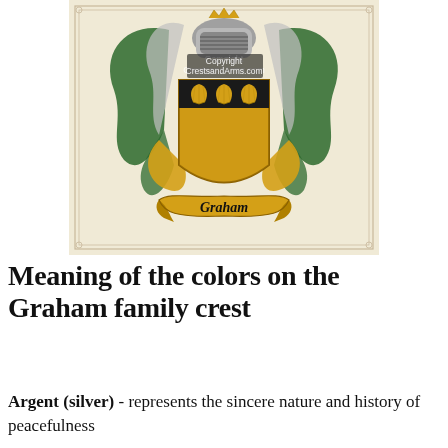[Figure (illustration): Graham family coat of arms / family crest. Features a golden shield with a dark horizontal band bearing three golden scallop shells. Above the shield is a helmet with silver and gold mantling, and green and gold decorative scrollwork. Below the shield is a golden ribbon banner with the name 'Graham' written in black script. A watermark reads 'Copyright CrestsandArms.com'. The image is set on a parchment-colored background with a rectangular border.]
Meaning of the colors on the Graham family crest
Argent (silver) - represents the sincere nature and history of peacefulness